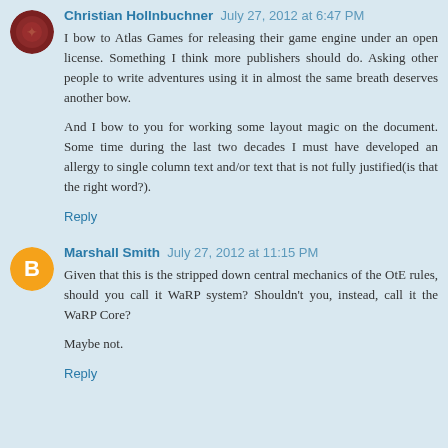Christian Hollnbuchner  July 27, 2012 at 6:47 PM
I bow to Atlas Games for releasing their game engine under an open license. Something I think more publishers should do. Asking other people to write adventures using it in almost the same breath deserves another bow.
And I bow to you for working some layout magic on the document. Some time during the last two decades I must have developed an allergy to single column text and/or text that is not fully justified(is that the right word?).
Reply
Marshall Smith  July 27, 2012 at 11:15 PM
Given that this is the stripped down central mechanics of the OtE rules, should you call it WaRP system? Shouldn't you, instead, call it the WaRP Core?
Maybe not.
Reply